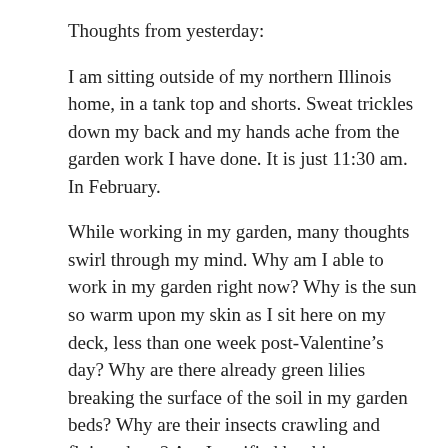Thoughts from yesterday:
I am sitting outside of my northern Illinois home, in a tank top and shorts. Sweat trickles down my back and my hands ache from the garden work I have done. It is just 11:30 am. In February.
While working in my garden, many thoughts swirl through my mind. Why am I able to work in my garden right now? Why is the sun so warm upon my skin as I sit here on my deck, less than one week post-Valentine’s day? Why are there already green lilies breaking the surface of the soil in my garden beds? Why are their insects crawling and flying about? Am I terrified by this extreme weather streak in February?